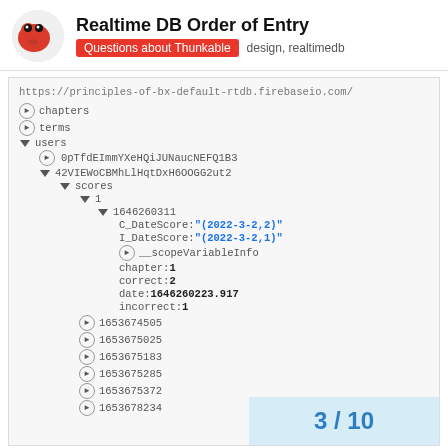Realtime DB Order of Entry | Questions about Thunkable design, realtimedb
[Figure (screenshot): Firebase Realtime Database tree view showing URL https://principles-of-bx-default-rtdb.firebaseio.com/ with chapters, terms, users nodes expanded. Under users > 42VIEWoCBMhLlHqtDxH6OOGG2ut2 > scores > 1 > 1646260311 showing C_DateScore: (2022-3-2,2), I_DateScore: (2022-3-2,1), __scopeVariableInfo, chapter: 1, correct: 2, date: 1646260223.917, incorrect: 1. Also showing collapsed nodes 1653674505, 1653675025, 1653675183, 1653675285, 1653675372, 1653678234]
3 / 10